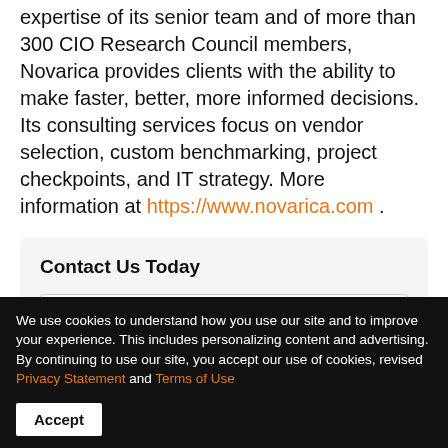expertise of its senior team and of more than 300 CIO Research Council members, Novarica provides clients with the ability to make faster, better, more informed decisions. Its consulting services focus on vendor selection, custom benchmarking, project checkpoints, and IT strategy. More information at https://www.novarica.com .
Contact Us Today
Name
Email
We use cookies to understand how you use our site and to improve your experience. This includes personalizing content and advertising. By continuing to use our site, you accept our use of cookies, revised Privacy Statement and Terms of Use